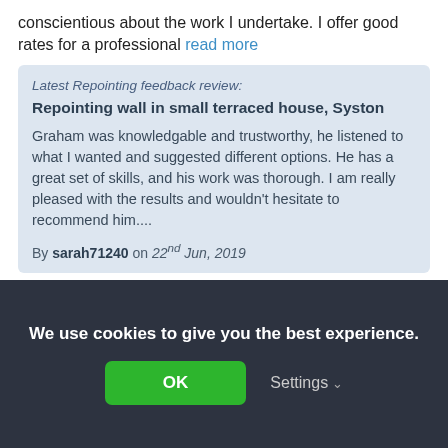conscientious about the work I undertake. I offer good rates for a professional read more
Latest Repointing feedback review: Repointing wall in small terraced house, Syston

Graham was knowledgable and trustworthy, he listened to what I wanted and suggested different options. He has a great set of skills, and his work was thorough. I am really pleased with the results and wouldn't hesitate to recommend him....

By sarah71240 on 22nd Jun, 2019
Invite to quote
We use cookies to give you the best experience.
OK
Settings